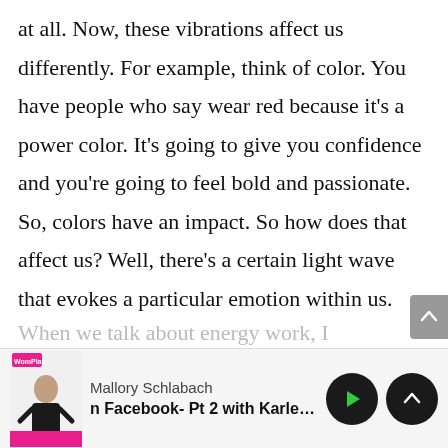at all. Now, these vibrations affect us differently. For example, think of color. You have people who say wear red because it's a power color. It's going to give you confidence and you're going to feel bold and passionate. So, colors have an impact. So how does that affect us? Well, there's a certain light wave that evokes a particular emotion within us.
When we talk about energy work, I
[Figure (screenshot): Podcast player bar showing Mallory Schlabach podcast episode 'n Facebook- Pt 2 with Karlee Welde' with play and scroll-up buttons]